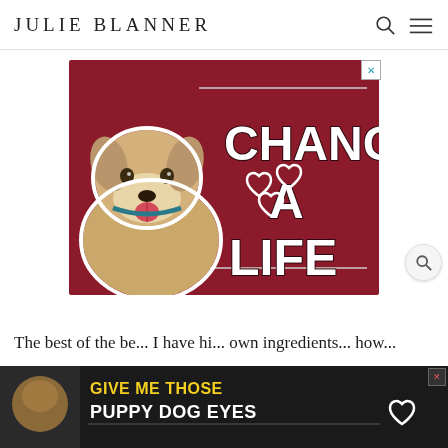JULIE BLANNER
[Figure (advertisement): Red background advertisement with a yellow Labrador mix dog on the left side and bold white text reading 'CHANGE A LIFE' with heart outlines on the right. Has a close X button in top right corner.]
[Figure (advertisement): Bottom banner advertisement on dark background with a small dog image and bold yellow/white text reading 'GIVE ME THOSE PUPPY DOG EYES' with a heart graphic.]
The best of the best. I have hi... own ingredients... how...